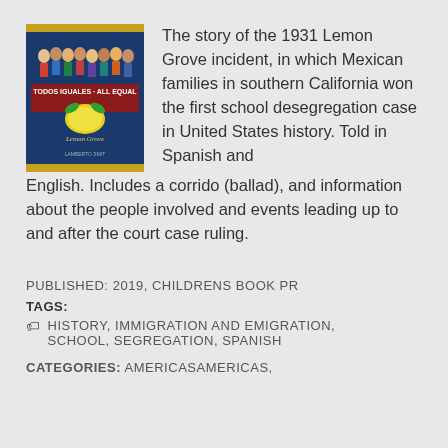[Figure (illustration): Book cover of 'Todos Iguales / All Equal' showing children and a lemon, with blue background and decorative label design referencing Lemon Grove]
The story of the 1931 Lemon Grove incident, in which Mexican families in southern California won the first school desegregation case in United States history. Told in Spanish and English. Includes a corrido (ballad), and information about the people involved and events leading up to and after the court case ruling.
PUBLISHED: 2019, CHILDRENS BOOK PR
TAGS:
HISTORY, IMMIGRATION AND EMIGRATION, SCHOOL, SEGREGATION, SPANISH
CATEGORIES: AMERICASAMERICAS,